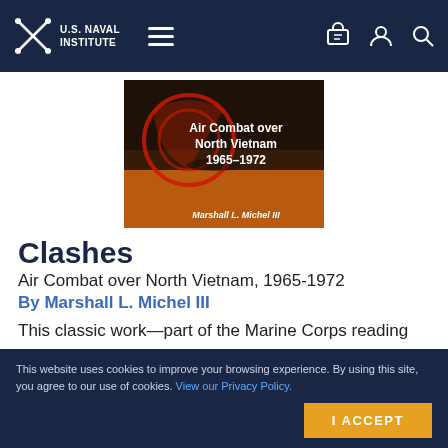U.S. Naval Institute
[Figure (illustration): Book cover of 'Clashes: Air Combat over North Vietnam 1965–1972' by Marshall L. Michel III. Orange and dark background with aircraft imagery and red circular graphic. White bold text displays the title and author.]
Clashes
Air Combat over North Vietnam, 1965-1972
By Marshall L. Michel III
This classic work—part of the Marine Corps reading list—makes full use of declassified U.S. documents to offer the f…
This website uses cookies to improve your browsing experience. By using this site, you agree to our use of cookies. View our Privacy Policy.